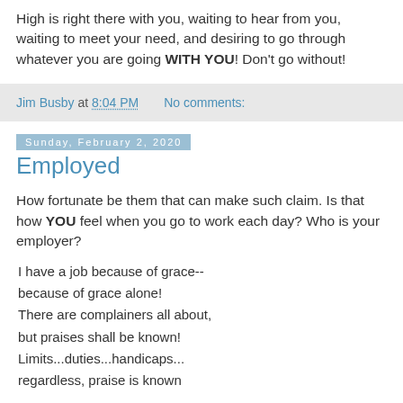High is right there with you, waiting to hear from you, waiting to meet your need, and desiring to go through whatever you are going WITH YOU!  Don't go without!
Jim Busby at 8:04 PM    No comments:
Sunday, February 2, 2020
Employed
How fortunate be them that can make such claim.  Is that how YOU feel when you go to work each day?  Who is your employer?
I have a job because of grace--
because of grace alone!
There are complainers all about,
but praises shall be known!
Limits...duties...handicaps...
regardless, praise is known